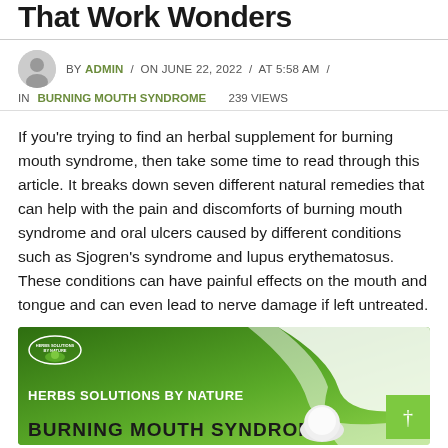That Work Wonders
BY ADMIN / ON JUNE 22, 2022 / AT 5:58 AM / IN BURNING MOUTH SYNDROME   239 VIEWS
If you're trying to find an herbal supplement for burning mouth syndrome, then take some time to read through this article. It breaks down seven different natural remedies that can help with the pain and discomforts of burning mouth syndrome and oral ulcers caused by different conditions such as Sjogren's syndrome and lupus erythematosus. These conditions can have painful effects on the mouth and tongue and can even lead to nerve damage if left untreated.
[Figure (illustration): Herbs Solutions By Nature promotional banner for Burning Mouth Syndrome with green gradient background, brand logo, and text 'BURNING MOUTH SYNDROME']